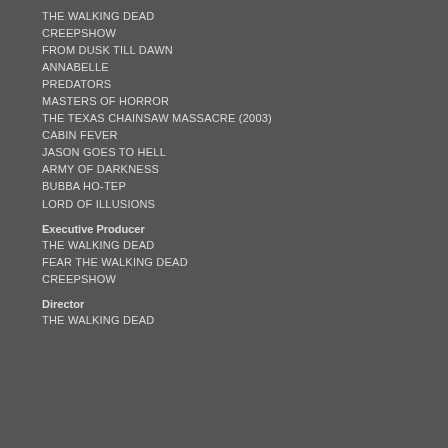THE WALKING DEAD
CREEPSHOW
FROM DUSK TILL DAWN
ANNABELLE
PREDATORS
MASTERS OF HORROR
THE TEXAS CHAINSAW MASSACRE (2003)
CABIN FEVER
JASON GOES TO HELL
ARMY OF DARKNESS
BUBBA HO-TEP
LORD OF ILLUSIONS
Executive Producer
THE WALKING DEAD
FEAR THE WALKING DEAD
CREEPSHOW
Director
THE WALKING DEAD